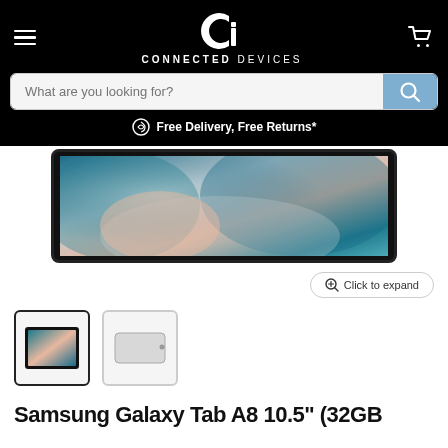[Figure (logo): Connected Devices logo — white 'Ci' monogram with 'EST. 2016' and 'CONNECTED DEVICES' wordmark on black background]
What are you looking for?
Free Delivery, Free Returns*
[Figure (photo): Samsung Galaxy Tab A8 tablet showing a colorful abstract/marble wallpaper on screen, shot from above at slight angle, on black background]
Click to expand
[Figure (photo): Two thumbnail images of Samsung Galaxy Tab A8: first showing tablet face with colorful wallpaper (selected), second showing tablet back in silver]
Samsung Galaxy Tab A8 10.5" (32GB